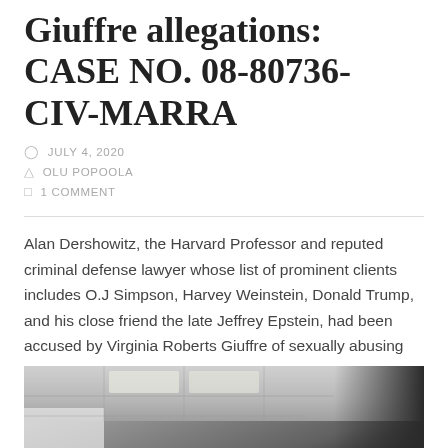Giuffre allegations: CASE NO. 08-80736-CIV-MARRA
JULY 4, 2020
OLU POPOOLA
1 COMMENT
Alan Dershowitz, the Harvard Professor and reputed criminal defense lawyer whose list of prominent clients includes O.J Simpson, Harvey Weinstein, Donald Trump, and his close friend the late Jeffrey Epstein, had been accused by Virginia Roberts Giuffre of sexually abusing her as a teenager on multiple occasions whilst in the company of Epstein.
[Figure (photo): A partially visible photo showing an indoor ceiling with fluorescent lighting and a dark area on the right side, with a light-colored object at the bottom left.]